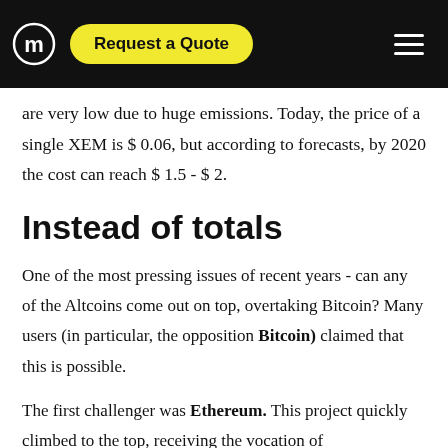Request a Quote
are very low due to huge emissions. Today, the price of a single XEM is $ 0.06, but according to forecasts, by 2020 the cost can reach $ 1.5 - $ 2.
Instead of totals
One of the most pressing issues of recent years - can any of the Altcoins come out on top, overtaking Bitcoin? Many users (in particular, the opposition Bitcoin) claimed that this is possible.
The first challenger was Ethereum. This project quickly climbed to the top, receiving the vocation of